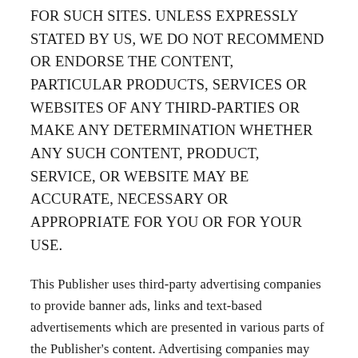FOR SUCH SITES. UNLESS EXPRESSLY STATED BY US, WE DO NOT RECOMMEND OR ENDORSE THE CONTENT, PARTICULAR PRODUCTS, SERVICES OR WEBSITES OF ANY THIRD-PARTIES OR MAKE ANY DETERMINATION WHETHER ANY SUCH CONTENT, PRODUCT, SERVICE, OR WEBSITE MAY BE ACCURATE, NECESSARY OR APPROPRIATE FOR YOU OR FOR YOUR USE.
This Publisher uses third-party advertising companies to provide banner ads, links and text-based advertisements which are presented in various parts of the Publisher's content. Advertising companies may use information about your visits to this and other Websites in order to provide more targeted advertisements about goods and services of interest to you. If you would like more information about this practice and to know your choices about not having this information used by